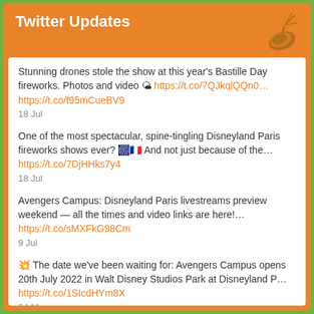Twitter Updates
Stunning drones stole the show at this year's Bastille Day fireworks. Photos and video 🌤 https://t.co/7QJkqlQQn0… https://t.co/f95mCueBV9
18 Jul
One of the most spectacular, spine-tingling Disneyland Paris fireworks shows ever? 🎆🇫🇷 And not just because of the… https://t.co/7DjHHks7y4
18 Jul
Avengers Campus: Disneyland Paris livestreams preview weekend — all the times and video links are here!… https://t.co/sMXFkG98Cm
9 Jul
💥 The date we've been waiting for: Avengers Campus opens 20th July 2022 in Walt Disney Studios Park at Disneyland P… https://t.co/1SIcdHYm8X
24 May